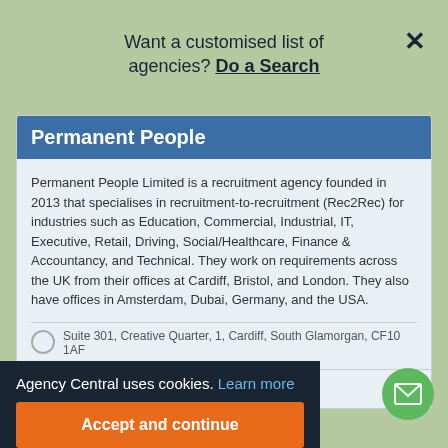Want a customised list of agencies? Do a Search
Permanent People
Permanent People Limited is a recruitment agency founded in 2013 that specialises in recruitment-to-recruitment (Rec2Rec) for industries such as Education, Commercial, Industrial, IT, Executive, Retail, Driving, Social/Healthcare, Finance & Accountancy, and Technical. They work on requirements across the UK from their offices at Cardiff, Bristol, and London. They also have offices in Amsterdam, Dubai, Germany, and the USA.
Suite 301, Creative Quarter, 1, Cardiff, South Glamorgan, CF10 1AF
Agency Central uses cookies. Learn more
Accept and continue
Visit website